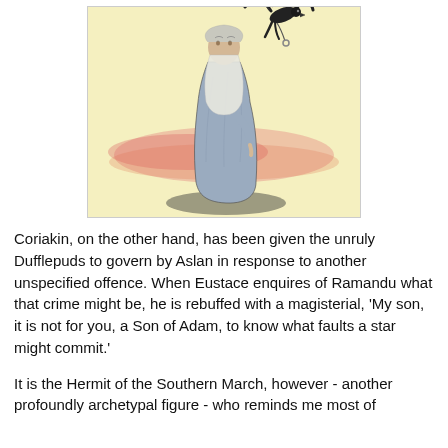[Figure (illustration): A colored illustration of a tall elderly robed figure with a long white beard, wearing a long grey-blue robe, standing with a dark bird (possibly a raven or phoenix) flying above him. The background shows a warm yellow sky with pink/red horizontal bands near the horizon, and a shadowed ground beneath the figure.]
Coriakin, on the other hand, has been given the unruly Dufflepuds to govern by Aslan in response to another unspecified offence. When Eustace enquires of Ramandu what that crime might be, he is rebuffed with a magisterial, 'My son, it is not for you, a Son of Adam, to know what faults a star might commit.'
It is the Hermit of the Southern March, however - another profoundly archetypal figure - who reminds me most of